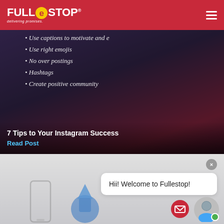Fullestop — delivering promises. (navigation header)
[Figure (screenshot): Dark background image with bullet list tips for Instagram success: Use captions to motivate and..., Use right emojis, No over postings, Hashtags, Create positive community]
7 Tips to Your Instagram Success
Read Post
[Figure (screenshot): Chat widget popup: close button (x), speech bubble saying 'Hii! Welcome to Fullestop!', avatar icon with green online indicator, red email/envelope icon button]
[Figure (illustration): Bottom section with faded decorative icons including a phone outline and hand/thumbs-up illustration]